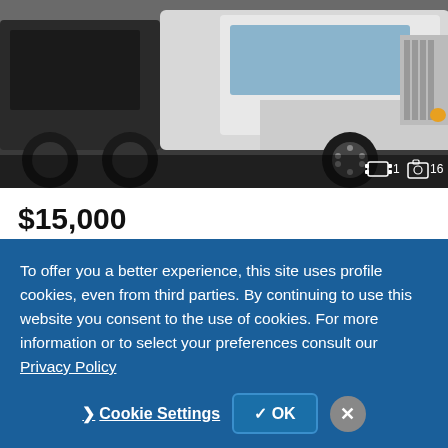[Figure (photo): White Peterbilt 386 conventional day cab tractor truck, viewed from front-side angle, dark/overcast background. Image counter shows 1 video and 16 photos.]
$15,000
2011 PETERBILT 386 Conventional - Day Cab, Tractor
Butler Truck Sales - Website
Butler, PA - 183 mi. away
Email
Call
To offer you a better experience, this site uses profile cookies, even from third parties. By continuing to use this website you consent to the use of cookies. For more information or to select your preferences consult our Privacy Policy
Cookie Settings
OK